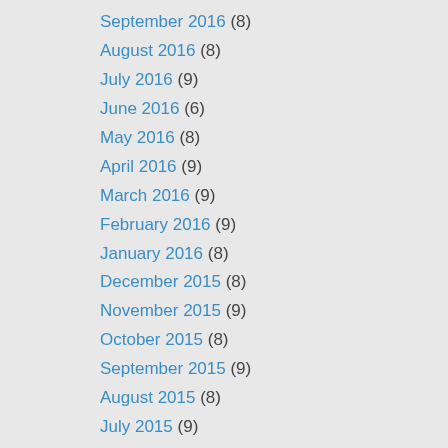September 2016 (8)
August 2016 (8)
July 2016 (9)
June 2016 (6)
May 2016 (8)
April 2016 (9)
March 2016 (9)
February 2016 (9)
January 2016 (8)
December 2015 (8)
November 2015 (9)
October 2015 (8)
September 2015 (9)
August 2015 (8)
July 2015 (9)
June 2015 (8)
May 2015 (10)
April 2015 (9)
March 2015 (8)
February 2015 (9)